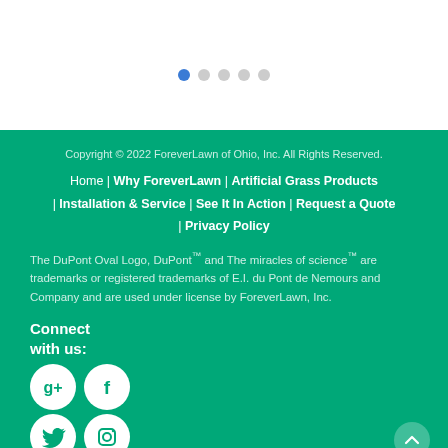[Figure (other): Pagination dots: 5 circles, first one filled blue, rest grey]
Copyright © 2022 ForeverLawn of Ohio, Inc. All Rights Reserved.
Home | Why ForeverLawn | Artificial Grass Products | Installation & Service | See It In Action | Request a Quote | Privacy Policy
The DuPont Oval Logo, DuPont™ and The miracles of science™ are trademarks or registered trademarks of E.I. du Pont de Nemours and Company and are used under license by ForeverLawn, Inc.
Connect with us:
[Figure (illustration): Social media icons: Google+, Facebook (top row); Twitter, Instagram (bottom row) — white circles on green background]